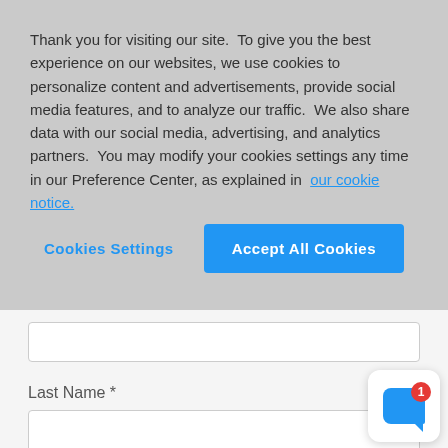Thank you for visiting our site.  To give you the best experience on our websites, we use cookies to personalize content and advertisements, provide social media features, and to analyze our traffic.  We also share data with our social media, advertising, and analytics partners.  You may modify your cookies settings any time in our Preference Center, as explained in our cookie notice.
Cookies Settings
Accept All Cookies
Last Name *
Phone Number *